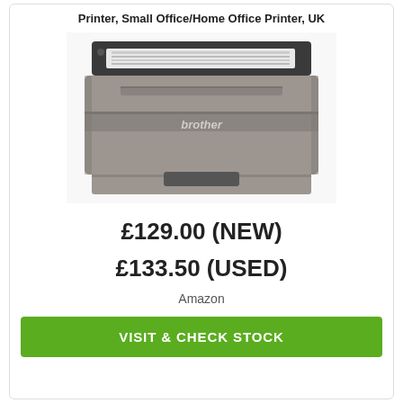Printer, Small Office/Home Office Printer, UK
[Figure (photo): Brother laser printer (grey body, dark top panel with paper tray) — front-facing product photo on white background]
£129.00 (NEW)
£133.50 (USED)
Amazon
VISIT & CHECK STOCK